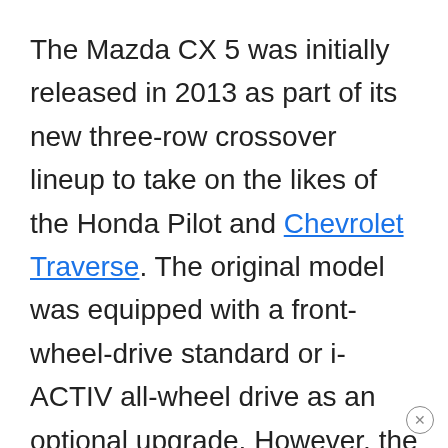The Mazda CX 5 was initially released in 2013 as part of its new three-row crossover lineup to take on the likes of the Honda Pilot and Chevrolet Traverse. The original model was equipped with a front-wheel-drive standard or i-ACTIV all-wheel drive as an optional upgrade. However, the one thing that held this compact SUV back from being great was its lack of power under the hood. The base engine provided good fuel economy, but you have to floor it to get it to move. Even then, there were so many